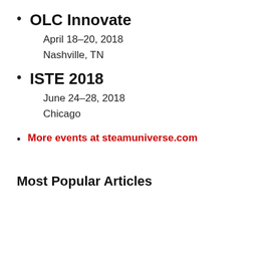OLC Innovate
April 18–20, 2018
Nashville, TN
ISTE 2018
June 24–28, 2018
Chicago
More events at steamuniverse.com
Most Popular Articles